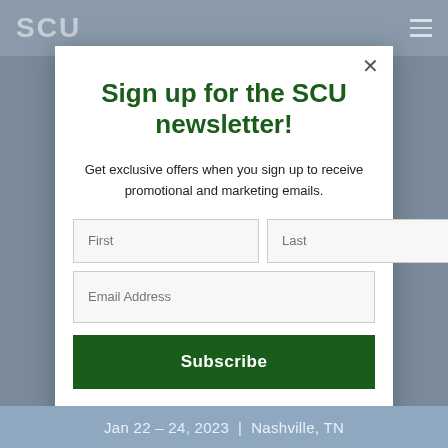SCU
Sign up for the SCU newsletter!
Get exclusive offers when you sign up to receive promotional and marketing emails.
First | Last | Email Address | Subscribe
Jan 22 – 24, 2023 | Nashville, TN